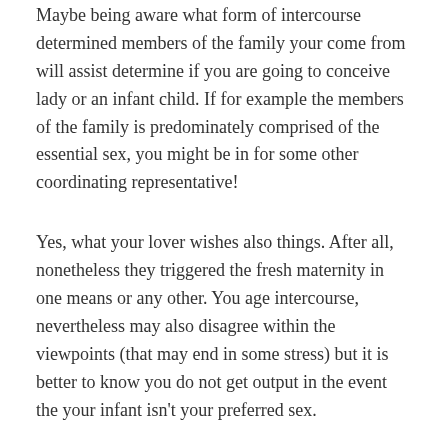Maybe being aware what form of intercourse determined members of the family your come from will assist determine if you are going to conceive lady or an infant child. If for example the members of the family is predominately comprised of the essential sex, you might be in for some other coordinating representative!
Yes, what your lover wishes also things. After all, nonetheless they triggered the fresh maternity in one means or any other. You age intercourse, nevertheless may also disagree within the viewpoints (that may end in some stress) but it is better to know you do not get output in the event the your infant isn't your preferred sex.
What sort of motion picture do you really choose?